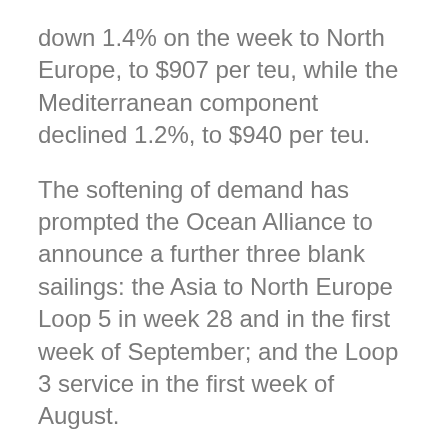down 1.4% on the week to North Europe, to $907 per teu, while the Mediterranean component declined 1.2%, to $940 per teu.
The softening of demand has prompted the Ocean Alliance to announce a further three blank sailings: the Asia to North Europe Loop 5 in week 28 and in the first week of September; and the Loop 3 service in the first week of August.
A UK-based forwarder told The Loadstar he thought the tight capacity situation of previous weeks was beginning to ease. "We have had a couple of lines chasing us for bookings this week and indicating that there